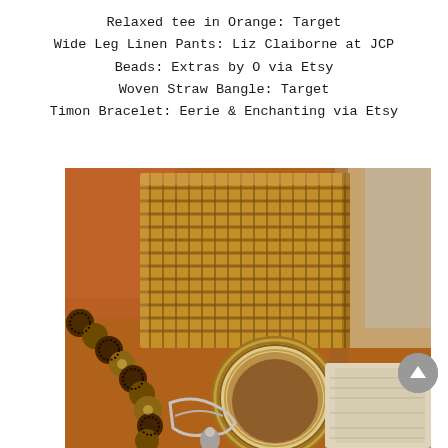Relaxed tee in Orange: Target
Wide Leg Linen Pants: Liz Claiborne at JCP
Beads: Extras by O via Etsy
Woven Straw Bangle: Target
Timon Bracelet: Eerie & Enchanting via Etsy
[Figure (photo): Close-up photo of a woven straw/seagrass bag on a wooden surface, with beaded jewelry (brown and gold beads), a woven straw bangle bracelet, a metal charm bracelet, and linen fabric visible around the bag.]